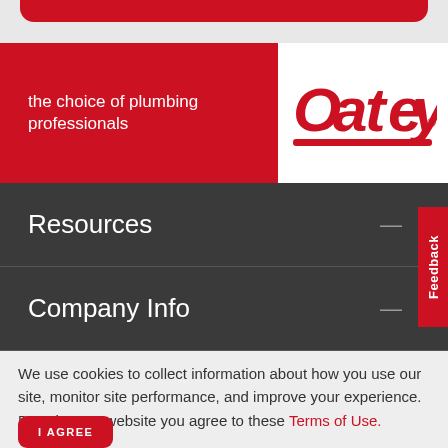[Figure (logo): Oatey brand logo — red stylized text 'Oatey' with red underline, on white background]
the choice of plumbing professionals
Resources
Company Info
Feedback
We use cookies to collect information about how you use our site, monitor site performance, and improve your experience.
By using our website you agree to these Terms of Use.
I AGREE